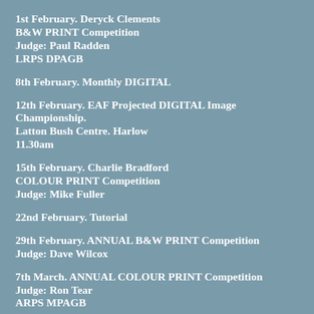1st February. Deryck Clements
B&W PRINT Competition
Judge: Paul Radden
LRPS DPAGB
8th February. Monthly DIGITAL
12th February. EAF Projected DIGITAL Image Championship.
Latton Bush Centre. Harlow
11.30am
15th February. Charlie Bradford
COLOUR PRINT Competition
Judge: Mike Fuller
22nd February. Tutorial
29th February. ANNUAL B&W PRINT Competition
Judge: Dave Wilcox
7th March. ANNUAL COLOUR PRINT Competition
Judge: Ron Tear
ARPS MPAGB
12th March. MOULSHAM SHIELD